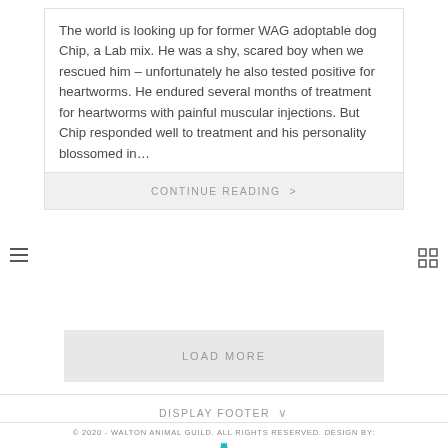The world is looking up for former WAG adoptable dog Chip, a Lab mix. He was a shy, scared boy when we rescued him – unfortunately he also tested positive for heartworms. He endured several months of treatment for heartworms with painful muscular injections. But Chip responded well to treatment and his personality blossomed in...
CONTINUE READING >
LOAD MORE
DISPLAY FOOTER ∨
© 2020 - WALTON ANIMAL GUILD. ALL RIGHTS RESERVED. DESIGN BY: